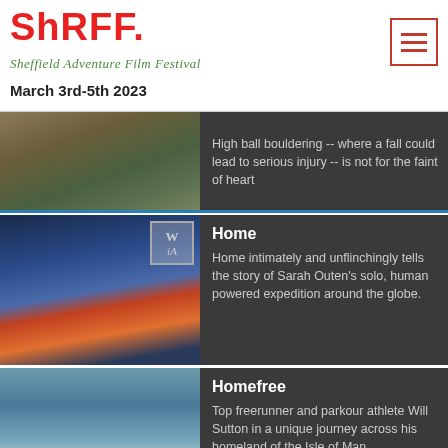ShAFF. Sheffield Adventure Film Festival | March 3rd-5th 2023
High ball bouldering -- where a fall could lead to serious injury -- is not for the faint of heart
Home
Home intimately and unflinchingly tells the story of Sarah Outen's solo, human powered expedition around the globe.
Homefree
Top freerunner and parkour athlete Will Sutton in a unique journey across his homeland of the Isle of Man.